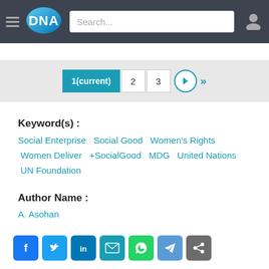DNA — Search bar — User icon
1(current) 2 3 → >>
Keyword(s) :
Social Enterprise  Social Good  Women's Rights  Women Deliver  +SocialGood  MDG  United Nations  UN Foundation
Author Name :
A. Asohan
Social sharing icons: Facebook, Twitter, LinkedIn, Email, WhatsApp, Telegram, Share